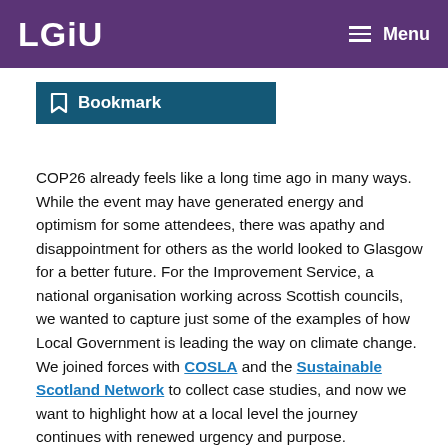LGiU — Menu
[Figure (other): Bookmark button with bookmark icon]
COP26 already feels like a long time ago in many ways. While the event may have generated energy and optimism for some attendees, there was apathy and disappointment for others as the world looked to Glasgow for a better future. For the Improvement Service, a national organisation working across Scottish councils, we wanted to capture just some of the examples of how Local Government is leading the way on climate change. We joined forces with COSLA and the Sustainable Scotland Network to collect case studies, and now we want to highlight how at a local level the journey continues with renewed urgency and purpose.
There are a lot of great resources out there, but we wanted